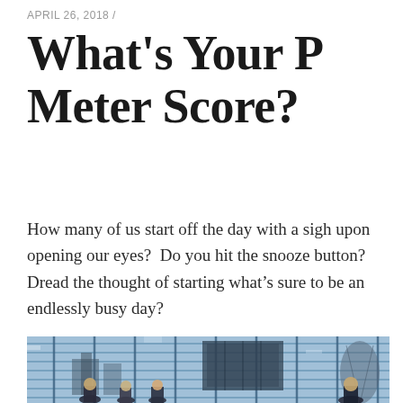APRIL 26, 2018 /
What's Your P Meter Score?
How many of us start off the day with a sigh upon opening our eyes?  Do you hit the snooze button? Dread the thought of starting what's sure to be an endlessly busy day?
[Figure (photo): Photo of people in business attire standing in front of a large glass curtain wall facade with city skyscrapers reflected in the glass, viewed from below]